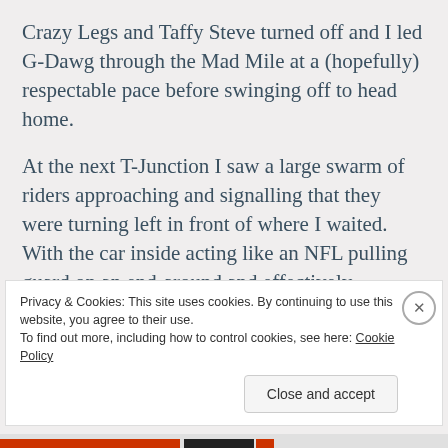Crazy Legs and Taffy Steve turned off and I led G-Dawg through the Mad Mile at a (hopefully) respectable pace before swinging off to head home.
At the next T-Junction I saw a large swarm of riders approaching and signalling that they were turning left in front of where I waited. With the car inside acting like an NFL pulling guard on an end-around and effectively screening me from other road users I swung out behind it to cross the lanes, but was struck simultaneously by vicious cramp in both my left calf and right foot.
Privacy & Cookies: This site uses cookies. By continuing to use this website, you agree to their use.
To find out more, including how to control cookies, see here: Cookie Policy
Close and accept